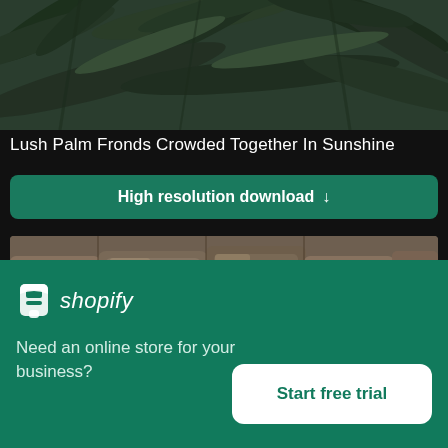[Figure (photo): Lush palm fronds crowded together in sunshine, dark green nature photo]
Lush Palm Fronds Crowded Together In Sunshine
High resolution download ↓
[Figure (photo): A wall of rough stone rocks, grey and brown tones]
[Figure (logo): Shopify logo with bag icon and italic shopify text]
Need an online store for your business?
Start free trial